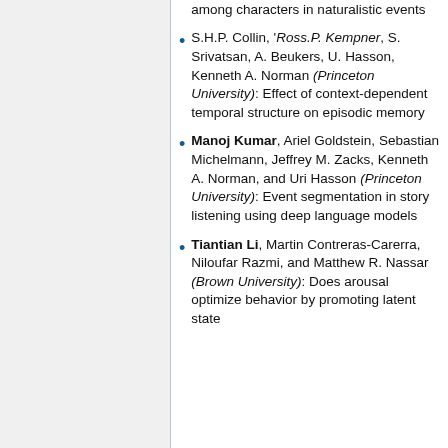perceptual versus semantic relationships among characters in naturalistic events
S.H.P. Collin, 'Ross.P. Kempner, S. Srivatsan, A. Beukers, U. Hasson, Kenneth A. Norman (Princeton University): Effect of context-dependent temporal structure on episodic memory
Manoj Kumar, Ariel Goldstein, Sebastian Michelmann, Jeffrey M. Zacks, Kenneth A. Norman, and Uri Hasson (Princeton University): Event segmentation in story listening using deep language models
Tiantian Li, Martin Contreras-Carerra, Niloufar Razmi, and Matthew R. Nassar (Brown University): Does arousal optimize behavior by promoting latent state